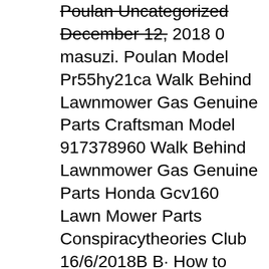Poulan Uncategorized December 12, 2018 0 masuzi. Poulan Model Pr55hy21ca Walk Behind Lawnmower Gas Genuine Parts Craftsman Model 917378960 Walk Behind Lawnmower Gas Genuine Parts Honda Gcv160 Lawn Mower Parts Conspiracytheories Club 16/6/2018В В· How to change oil Honda GCV160 Lawn Mower engine. COPS VS SUPERCAR OWNERS MEGA COMPILATION Honda HRX217VKA Step by Step Maintenance Tasks Performed by the Manual - Duration: 56:08. Dan
Model GCV160 Type 4-stroke, overhead-cam, single-cylinder, air-cooled вЋў Operating methods other than those indicated in the productвЋ™s owners